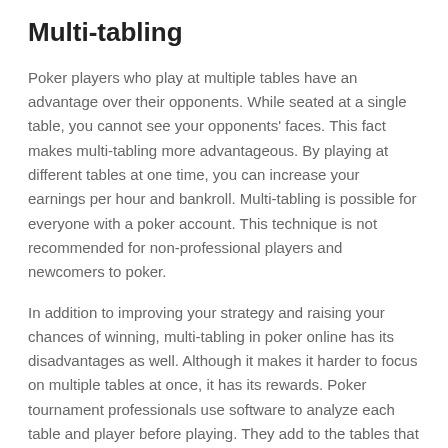Multi-tabling
Poker players who play at multiple tables have an advantage over their opponents. While seated at a single table, you cannot see your opponents' faces. This fact makes multi-tabling more advantageous. By playing at different tables at one time, you can increase your earnings per hour and bankroll. Multi-tabling is possible for everyone with a poker account. This technique is not recommended for non-professional players and newcomers to poker.
In addition to improving your strategy and raising your chances of winning, multi-tabling in poker online has its disadvantages as well. Although it makes it harder to focus on multiple tables at once, it has its rewards. Poker tournament professionals use software to analyze each table and player before playing. They add to the tables that have the highest chances of winning and omit the tables that have more experienced players. Despite the disadvantages of multi-tabling, the average player wins more money when playing more than one